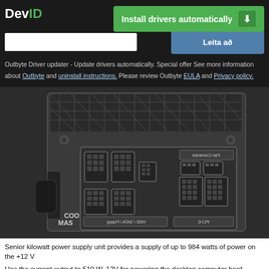DevID
Install drivers automatically
Leita að
Outbyte Driver updater - Update drivers automatically. Special offer See more information about Outbyte and uninstall instructions. Please review Outbyte EULA and Privacy policy.
[Figure (photo): Photo of a Cooler Master power supply unit (PSU) showing the modular cable connectors panel on one side. The panel shows connector slots labeled HDD/SATA/Floppy and PCI-E, along with Fan Connector ports. The PSU body is dark grey/black with a fan grille visible on top.]
Senior kilowatt power supply unit provides a supply of up to 984 watts of power on the +12 V
Has the current output to 510 W, 12V for powering the desktop computer hard...